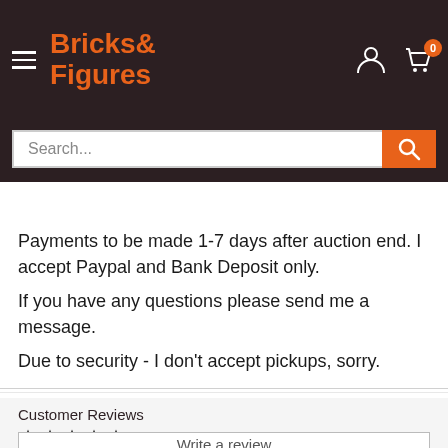Bricks & Figures — navigation header with logo, hamburger menu, user icon, cart with 0 items
Search...
Payments to be made 1-7 days after auction end. I accept Paypal and Bank Deposit only.
If you have any questions please send me a message.
Due to security - I don't accept pickups, sorry.
Customer Reviews
Be the first to write a review
Write a review